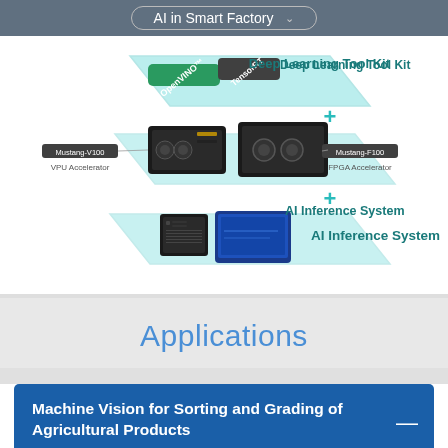AI in Smart Factory
[Figure (infographic): Layered infographic showing AI components: top layer with OpenVINO and TensorRT logos labeled 'Deep Learning Tool Kit', middle layer showing Mustang-V100 VPU Accelerator and Mustang-F100 FPGA Accelerator cards, bottom layer showing AI Inference System (mini PC and display panel). Layers connected by teal plus signs.]
Applications
Machine Vision for Sorting and Grading of Agricultural Products